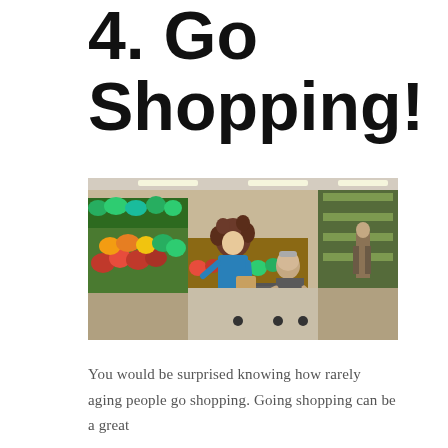4. Go Shopping!
[Figure (photo): A younger woman with curly brown hair and a blue top helps an elderly woman seated in a motorized shopping cart in the produce section of a grocery store. The shelves are stocked with colorful fruits and vegetables. Another person is visible in the background.]
You would be surprised knowing how rarely aging people go shopping. Going shopping can be a great